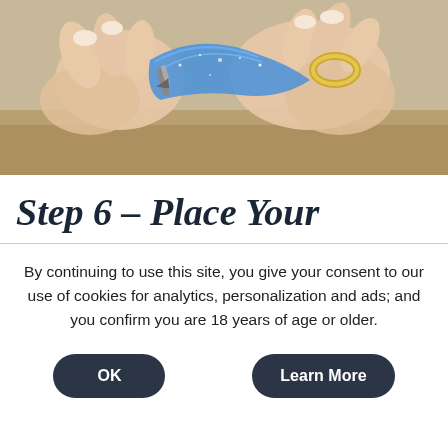[Figure (photo): Close-up photo of hands holding jewelry items including what appears to be nail tools and a gold ring, with blue glittery ribbon or material visible. Shot on a wooden surface.]
Step 6 – Place Your
By continuing to use this site, you give your consent to our use of cookies for analytics, personalization and ads; and you confirm you are 18 years of age or older.
OK
Learn More